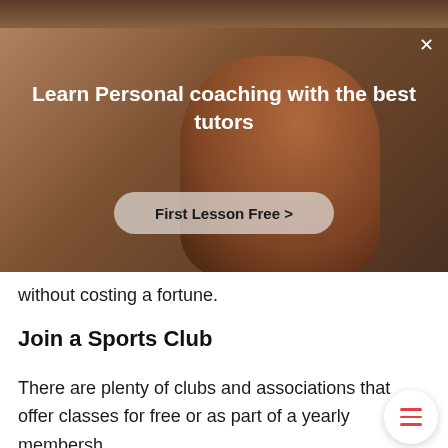[Figure (screenshot): Popup/overlay banner with background showing a person with arms outstretched. Contains white bold heading text 'Learn Personal coaching with the best tutors', a semi-transparent rounded button 'First Lesson Free >', and a close X button in the top right.]
without costing a fortune.
Join a Sports Club
There are plenty of clubs and associations that offer classes for free or as part of a yearly members...
The cost will vary but some of them can be very cheap and, by joining a club or association, you'll